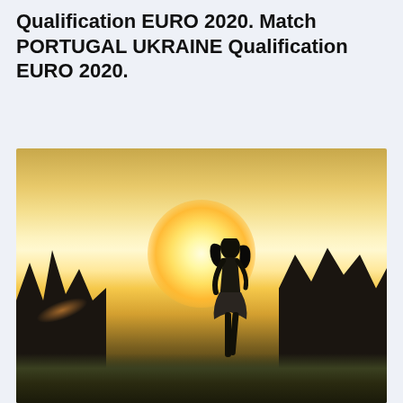Qualification EURO 2020. Match PORTUGAL UKRAINE Qualification EURO 2020.
[Figure (photo): A person (woman/girl) standing in a field at sunset with golden backlight and trees silhouetted in the background]